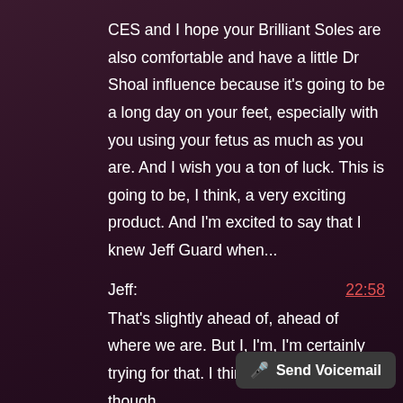CES and I hope your Brilliant Soles are also comfortable and have a little Dr Shoal influence because it's going to be a long day on your feet, especially with you using your fetus as much as you are. And I wish you a ton of luck. This is going to be, I think, a very exciting product. And I'm excited to say that I knew Jeff Guard when...
Jeff:    22:58
That's slightly ahead of, ahead of where we are. But I, I'm, I'm certainly trying for that. I think we're a ways off though.